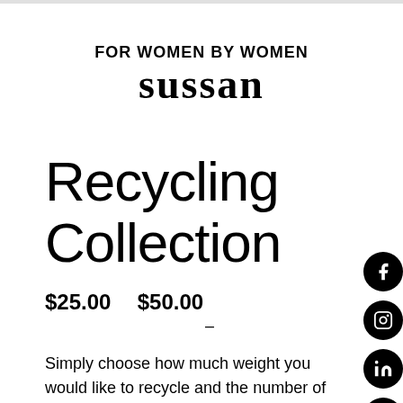FOR WOMEN BY WOMEN
sussan
Recycling Collection
$25.00 – $50.00
Simply choose how much weight you would like to recycle and the number of boxes to be collected.